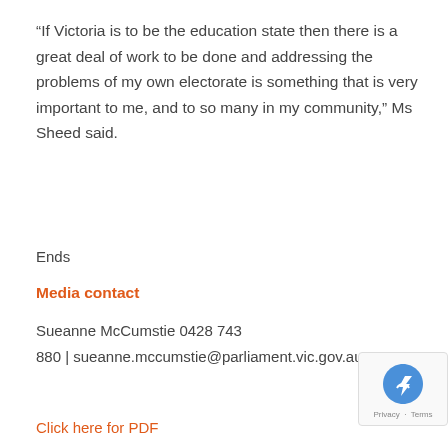“If Victoria is to be the education state then there is a great deal of work to be done and addressing the problems of my own electorate is something that is very important to me, and to so many in my community,” Ms Sheed said.
Ends
Media contact
Sueanne McCumstie 0428 743 880 | sueanne.mccumstie@parliament.vic.gov.au
Click here for PDF